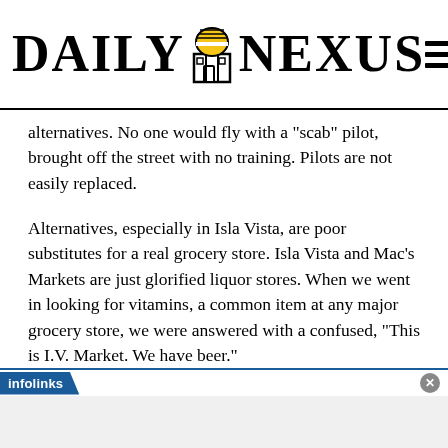DAILY NEXUS
alternatives. No one would fly with a "scab" pilot, brought off the street with no training. Pilots are not easily replaced.
Alternatives, especially in Isla Vista, are poor substitutes for a real grocery store. Isla Vista and Mac’s Markets are just glorified liquor stores. When we went in looking for vitamins, a common item at any major grocery store, we were answered with a confused, “This is I.V. Market. We have beer."
infolinks